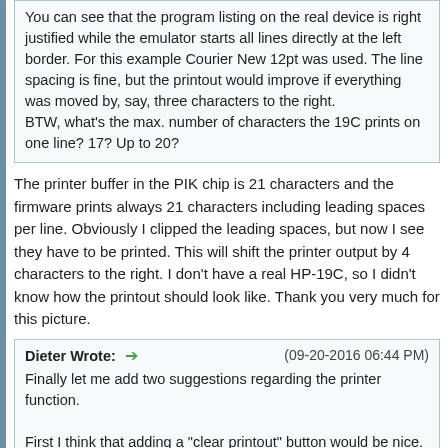You can see that the program listing on the real device is right justified while the emulator starts all lines directly at the left border. For this example Courier New 12pt was used. The line spacing is fine, but the printout would improve if everything was moved by, say, three characters to the right.
BTW, what's the max. number of characters the 19C prints on one line? 17? Up to 20?
The printer buffer in the PIK chip is 21 characters and the firmware prints always 21 characters including leading spaces per line. Obviously I clipped the leading spaces, but now I see they have to be printed. This will shift the printer output by 4 characters to the right. I don't have a real HP-19C, so I didn't know how the printout should look like. Thank you very much for this picture.
Dieter Wrote: (09-20-2016 06:44 PM)
Finally let me add two suggestions regarding the printer function.

First I think that adding a "clear printout" button would be nice. Something that works like advancing and tearing off the paper on a real 19C so that you get a blank print area on the emulator. Could be done by double-clicking on the paper.